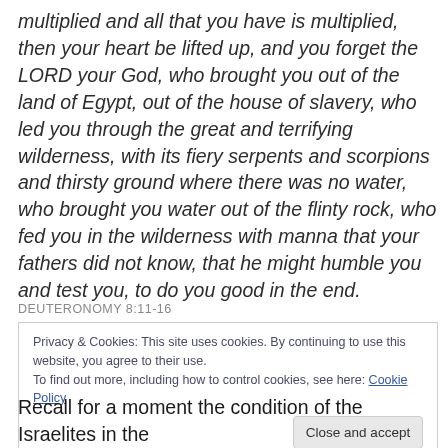multiplied and all that you have is multiplied, then your heart be lifted up, and you forget the LORD your God, who brought you out of the land of Egypt, out of the house of slavery, who led you through the great and terrifying wilderness, with its fiery serpents and scorpions and thirsty ground where there was no water, who brought you water out of the flinty rock, who fed you in the wilderness with manna that your fathers did not know, that he might humble you and test you, to do you good in the end.
DEUTERONOMY 8:11-16
Privacy & Cookies: This site uses cookies. By continuing to use this website, you agree to their use.
To find out more, including how to control cookies, see here: Cookie Policy
Recall for a moment the condition of the Israelites in the